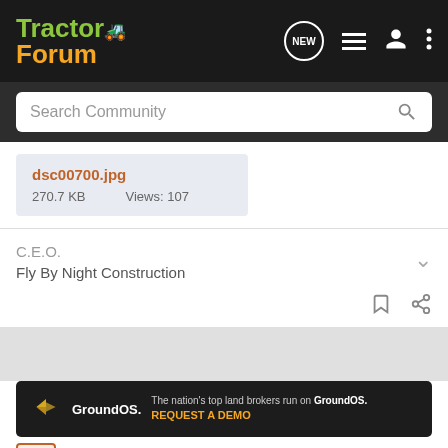TractorForum
Search Community
dsc00700.jpg
270.7 KB    Views: 107
C.E.O.
Fly By Night Construction
[Figure (screenshot): GroundOS advertisement banner: 'The nation's top land brokers run on GroundOS. REQUEST A DEMO']